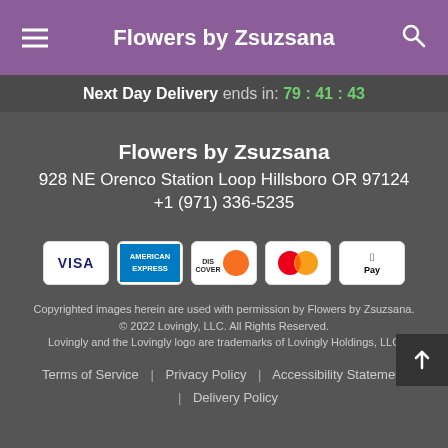Flowers by Zsuzsana
Next Day Delivery ends in: 79:41:43
Flowers by Zsuzsana
928 NE Orenco Station Loop Hillsboro OR 97124
+1 (971) 336-5235
[Figure (infographic): Payment method icons: VISA, American Express, Discover, Mastercard, Apple Pay]
Copyrighted images herein are used with permission by Flowers by Zsuzsana.
© 2022 Lovingly, LLC. All Rights Reserved.
Lovingly and the Lovingly logo are trademarks of Lovingly Holdings, LLC
Terms of Service | Privacy Policy | Accessibility Statement | Delivery Policy